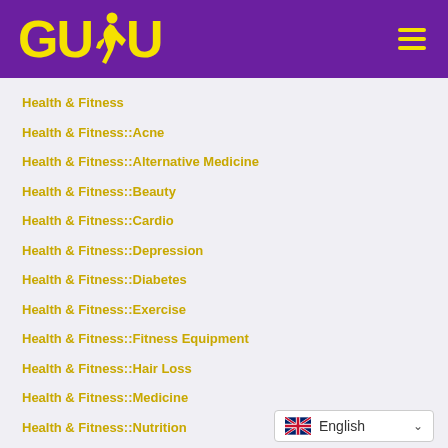[Figure (logo): GUDU logo with yellow text and runner icon on purple background, with hamburger menu icon on the right]
Health & Fitness
Health & Fitness::Acne
Health & Fitness::Alternative Medicine
Health & Fitness::Beauty
Health & Fitness::Cardio
Health & Fitness::Depression
Health & Fitness::Diabetes
Health & Fitness::Exercise
Health & Fitness::Fitness Equipment
Health & Fitness::Hair Loss
Health & Fitness::Medicine
Health & Fitness::Nutrition
[Figure (screenshot): English language selector dropdown with UK flag]